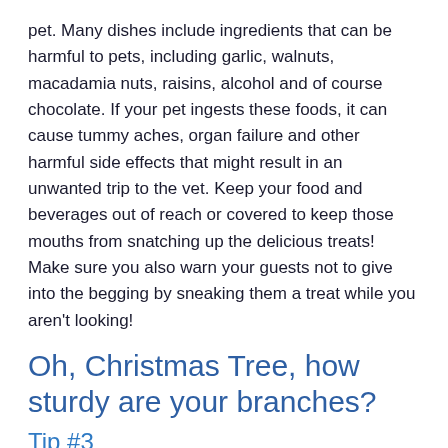pet. Many dishes include ingredients that can be harmful to pets, including garlic, walnuts, macadamia nuts, raisins, alcohol and of course chocolate. If your pet ingests these foods, it can cause tummy aches, organ failure and other harmful side effects that might result in an unwanted trip to the vet. Keep your food and beverages out of reach or covered to keep those mouths from snatching up the delicious treats! Make sure you also warn your guests not to give into the begging by sneaking them a treat while you aren't looking!
Oh, Christmas Tree, how sturdy are your branches?
Tip #3
If you've ever had a real tree, you know pine needles are bound to make their way to the floor and if your pets get ahold of them they can cause digestive issues. The water